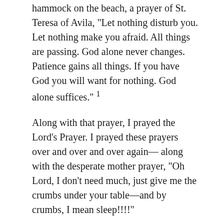hammock on the beach, a prayer of St. Teresa of Avila, “Let nothing disturb you. Let nothing make you afraid. All things are passing. God alone never changes. Patience gains all things. If you have God you will want for nothing. God alone suffices.” ¹
Along with that prayer, I prayed the Lord’s Prayer. I prayed these prayers over and over and over again—along with the desperate mother prayer, “Oh Lord, I don’t need much, just give me the crumbs under your table—and by crumbs, I mean sleep!!!!”
When she did sleep, rather than check on her every five minutes, I breathed deeply and thanked God for the gift of her. Rather than obsess over whether someone sanitized their hands before they shook mine, I tried not to panic; instead I waited until I had carefully changed her before I frantically washed my hands. I found that I enjoyed the little moments more. The moments that